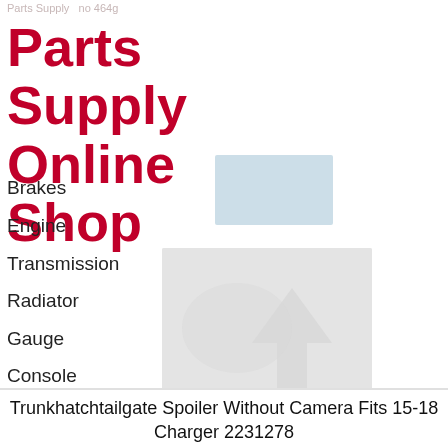Parts Supply Online Shop no 464g
Parts Supply Online Shop
Brakes
Engine
Transmission
Radiator
Gauge
Console
[Figure (photo): Small product image placeholder at top right]
[Figure (photo): Larger product image placeholder showing a car trunk/spoiler part with a faint arrow/logo watermark]
Trunkhatchtailgate Spoiler Without Camera Fits 15-18 Charger 2231278